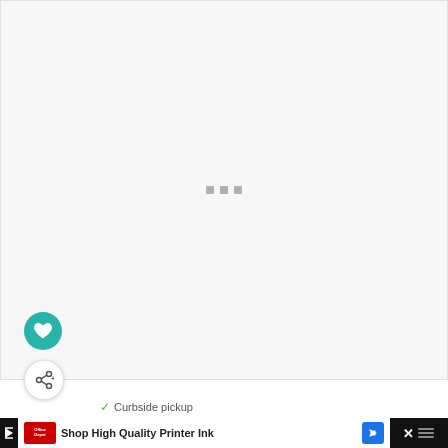[Figure (screenshot): A loading screen with a light gray background showing three small gray squares arranged horizontally in the center, indicating a loading state.]
[Figure (other): Teal circular FAB button with a white heart icon.]
[Figure (other): White circular FAB button with a share/add icon.]
✓ Curbside pickup
[Figure (other): Advertisement banner showing Office Depot logo and text 'Shop High Quality Printer Ink' with a blue navigation icon and a close button area on a dark background.]